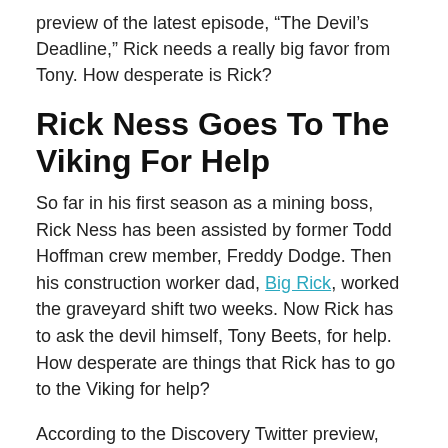preview of the latest episode, “The Devil’s Deadline,” Rick needs a really big favor from Tony. How desperate is Rick?
Rick Ness Goes To The Viking For Help
So far in his first season as a mining boss, Rick Ness has been assisted by former Todd Hoffman crew member, Freddy Dodge. Then his construction worker dad, Big Rick, worked the graveyard shift two weeks. Now Rick has to ask the devil himself, Tony Beets, for help. How desperate are things that Rick has to go to the Viking for help?
According to the Discovery Twitter preview, Rick’s washplant has a bum bearing. He cannot continue until this is resolved. Rick seems to assume that Tony has so much equipment that there is bound to be an extra, unused bearing, so Rick goes across enemy lines. Tony’s salty reply